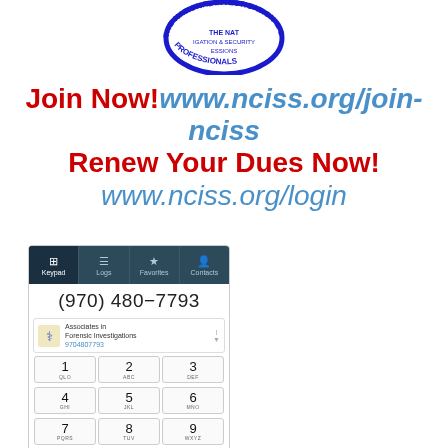[Figure (logo): NCISS circular logo with blue border, showing The National Investigation & Security Professionals text around edge]
Join Now! www.nciss.org/join-nciss
Renew Your Dues Now!
www.nciss.org/login
[Figure (screenshot): Mobile phone dialer screenshot showing number (970) 480-7793, Associates in Forensic Investigations contact, and numeric keypad]